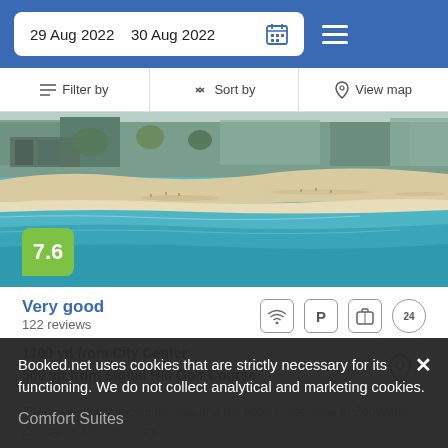29 Aug 2022   30 Aug 2022
Filter by   Sort by   View map
[Figure (photo): Aerial view of a beach resort with white sand, turquoise water, and beachside buildings]
7.6
Very good
122 reviews
1100 yd from City Center
500 yd from Signal Hill Golf Course
There are rooms facing the sea and the hotel is set close to ZooWorld Zoological Conservatory.
from  US$ 127 /night   SELECT
Booked.net uses cookies that are strictly necessary for its functioning. We do not collect analytical and marketing cookies.
Comfort Suites